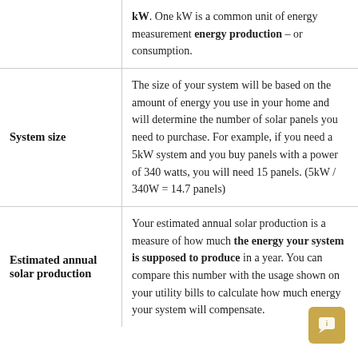| Term | Definition |
| --- | --- |
|  | kW. One kW is a common unit of energy measurement energy production – or consumption. |
| System size | The size of your system will be based on the amount of energy you use in your home and will determine the number of solar panels you need to purchase. For example, if you need a 5kW system and you buy panels with a power of 340 watts, you will need 15 panels. (5kW / 340W = 14.7 panels) |
| Estimated annual solar production | Your estimated annual solar production is a measure of how much the energy your system is supposed to produce in a year. You can compare this number with the usage shown on your utility bills to calculate how much energy your system will compensate. |